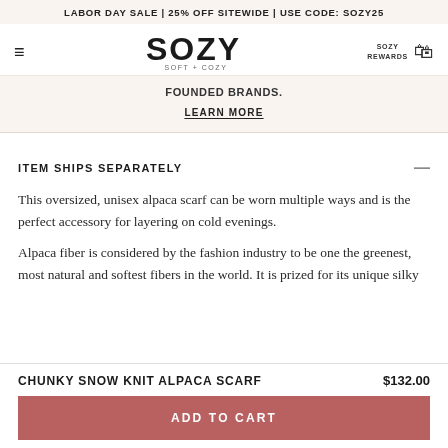LABOR DAY SALE | 25% OFF SITEWIDE | USE CODE: SOZY25
[Figure (logo): SOZY SOFT + COZY brand logo with hamburger menu, bag icon, and SOZY REWARDS link]
FOUNDED BRANDS.
LEARN MORE
ITEM SHIPS SEPARATELY
This oversized, unisex alpaca scarf can be worn multiple ways and is the perfect accessory for layering on cold evenings.
Alpaca fiber is considered by the fashion industry to be one the greenest, most natural and softest fibers in the world. It is prized for its unique silky
CHUNKY SNOW KNIT ALPACA SCARF   $132.00
ADD TO CART